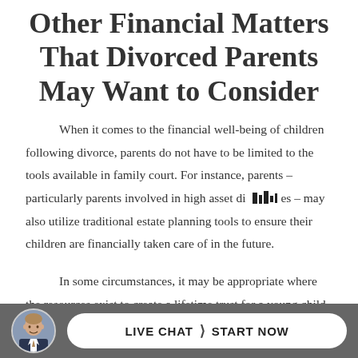Other Financial Matters That Divorced Parents May Want to Consider
When it comes to the financial well-being of children following divorce, parents do not have to be limited to the tools available in family court. For instance, parents – particularly parents involved in high asset divorces – may also utilize traditional estate planning tools to ensure their children are financially taken care of in the future.
In some circumstances, it may be appropriate where the resources exist to create a lifetime trust for a young child. If properly structured, the trust can provide for
[Figure (photo): Circular avatar photo of a man in a suit, used as a chat agent icon in the live chat footer bar]